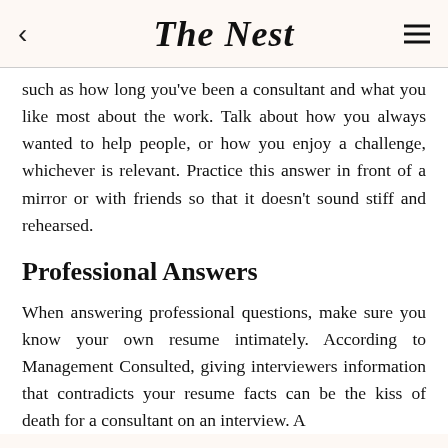The Nest
such as how long you've been a consultant and what you like most about the work. Talk about how you always wanted to help people, or how you enjoy a challenge, whichever is relevant. Practice this answer in front of a mirror or with friends so that it doesn't sound stiff and rehearsed.
Professional Answers
When answering professional questions, make sure you know your own resume intimately. According to Management Consulted, giving interviewers information that contradicts your resume facts can be the kiss of death for a consultant on an interview. A...